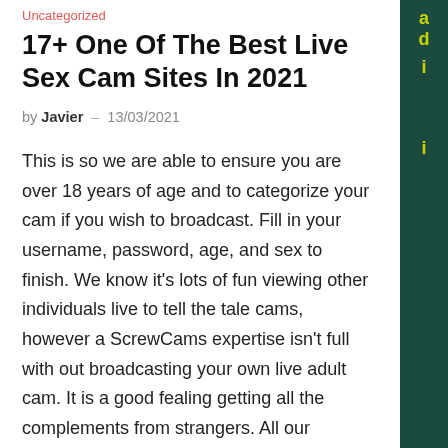Uncategorized
17+ One Of The Best Live Sex Cam Sites In 2021
by Javier – 13/03/2021
This is so we are able to ensure you are over 18 years of age and to categorize your cam if you wish to broadcast. Fill in your username, password, age, and sex to finish. We know it's lots of fun viewing other individuals live to tell the tale cams, however a ScrewCams expertise isn't full with out broadcasting your own live adult cam. It is a good fealing getting all the complements from strangers. All our members